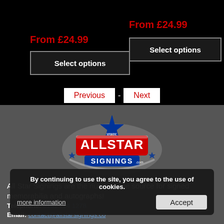From £24.99
From £24.99
Select options
Select options
Previous - Next
[Figure (logo): All Star Signings logo with blue star, red and blue text on grey swoosh background, www.allstarsignings.com]
All Star Signings are the number one source for signed memorabilia and autographs!
Telephone: 0161 724 1278
Email: contact@allstarsignings.co...
By continuing to use the site, you agree to the use of cookies.
more information  Accept